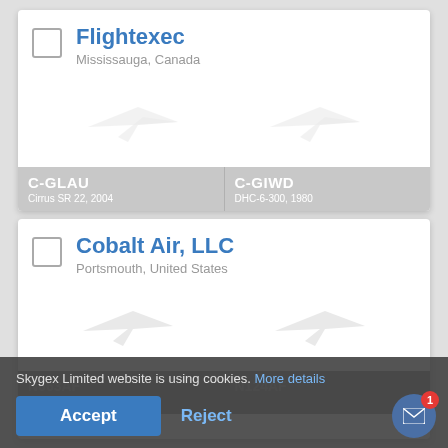[Figure (screenshot): Mobile app listing card for Flightexec showing checkbox, company name in blue, location, two aircraft silhouettes, and aircraft registration details C-GLAU (Cirrus SR 22, 2004) and C-GIWD (DHC-6-300, 1980)]
[Figure (screenshot): Mobile app listing card for Cobalt Air, LLC showing checkbox, company name in blue, Portsmouth United States location, and partially visible aircraft with N663AF and N124AF registrations]
Skygex Limited website is using cookies. More details
Accept
Reject